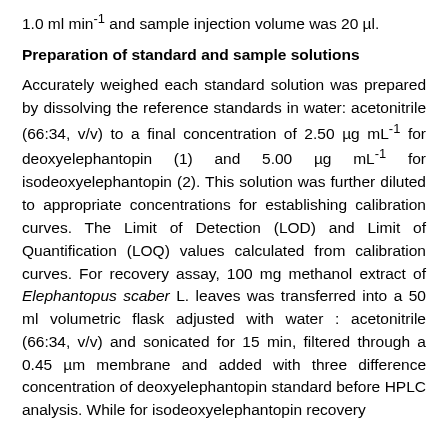1.0 ml min-1 and sample injection volume was 20 µl.
Preparation of standard and sample solutions
Accurately weighed each standard solution was prepared by dissolving the reference standards in water: acetonitrile (66:34, v/v) to a final concentration of 2.50 µg mL-1 for deoxyelephantopin (1) and 5.00 µg mL-1 for isodeoxyelephantopin (2). This solution was further diluted to appropriate concentrations for establishing calibration curves. The Limit of Detection (LOD) and Limit of Quantification (LOQ) values calculated from calibration curves. For recovery assay, 100 mg methanol extract of Elephantopus scaber L. leaves was transferred into a 50 ml volumetric flask adjusted with water : acetonitrile (66:34, v/v) and sonicated for 15 min, filtered through a 0.45 µm membrane and added with three difference concentration of deoxyelephantopin standard before HPLC analysis. While for isodeoxyelephantopin recovery